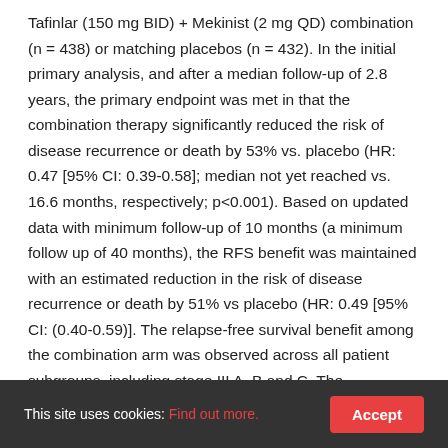Tafinlar (150 mg BID) + Mekinist (2 mg QD) combination (n = 438) or matching placebos (n = 432). In the initial primary analysis, and after a median follow-up of 2.8 years, the primary endpoint was met in that the combination therapy significantly reduced the risk of disease recurrence or death by 53% vs. placebo (HR: 0.47 [95% CI: 0.39-0.58]; median not yet reached vs. 16.6 months, respectively; p<0.001). Based on updated data with minimum follow-up of 10 months (a minimum follow up of 40 months), the RFS benefit was maintained with an estimated reduction in the risk of disease recurrence or death by 51% vs placebo (HR: 0.49 [95% CI: (0.40-0.59)]. The relapse-free survival benefit among the combination arm was observed across all patient subgroups, including stage III A, B and C. The
This site uses cookies: Find out more. Accept